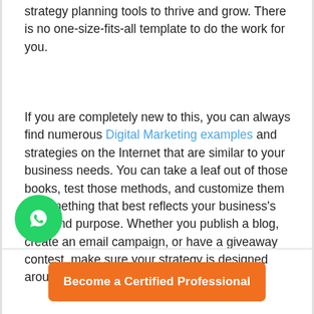strategy planning tools to thrive and grow. There is no one-size-fits-all template to do the work for you.
If you are completely new to this, you can always find numerous Digital Marketing examples and strategies on the Internet that are similar to your business needs. You can take a leaf out of those books, test those methods, and customize them to something that best reflects your business's core and purpose. Whether you publish a blog, create an email campaign, or have a giveaway contest, make sure your strategy is designed around your [goals] over a period of time.
Become a Certified Professional